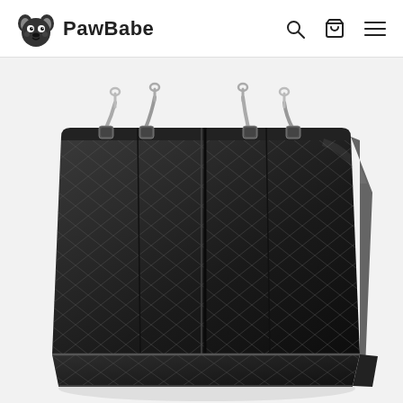PawBabe
[Figure (photo): Black quilted pet car seat cover/hammock for rear seat. The cover has a diamond quilted pattern in black fabric, with four metal clip straps at the top for attachment. The seat portion folds down showing a flat bench-style dog car seat cover, displayed at an angle on a white background.]